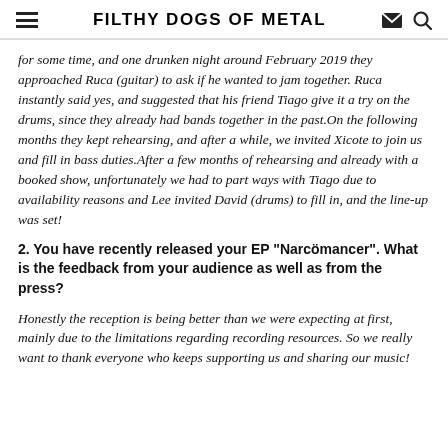FILTHY DOGS OF METAL
for some time, and one drunken night around February 2019 they approached Ruca (guitar) to ask if he wanted to jam together. Ruca instantly said yes, and suggested that his friend Tiago give it a try on the drums, since they already had bands together in the past.On the following months they kept rehearsing, and after a while, we invited Xicote to join us and fill in bass duties.After a few months of rehearsing and already with a booked show, unfortunately we had to part ways with Tiago due to availability reasons and Lee invited David (drums) to fill in, and the line-up was set!
2. You have recently released your EP "Narcömancer". What is the feedback from your audience as well as from the press?
Honestly the reception is being better than we were expecting at first, mainly due to the limitations regarding recording resources. So we really want to thank everyone who keeps supporting us and sharing our music!